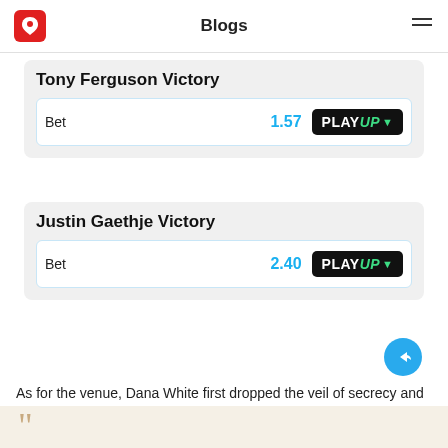Blogs
Tony Ferguson Victory
|  | Odds | Bookmaker |
| --- | --- | --- |
| Bet | 1.57 | PLAYUP |
Justin Gaethje Victory
|  | Odds | Bookmaker |
| --- | --- | --- |
| Bet | 2.40 | PLAYUP |
As for the venue, Dana White first dropped the veil of secrecy and said that it "basically exists." According to him, we are talking about a private island, which he rents.